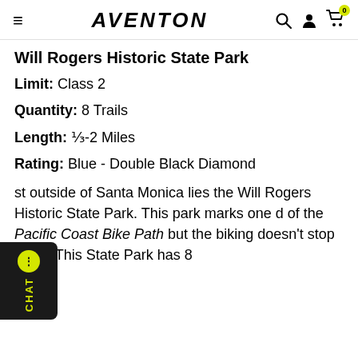≡  AVENTON  🔍 👤 🛒 0
Will Rogers Historic State Park
Limit: Class 2
Quantity: 8 Trails
Length: ⅓-2 Miles
Rating: Blue - Double Black Diamond
Just outside of Santa Monica lies the Will Rogers Historic State Park. This park marks one end of the Pacific Coast Bike Path but the biking doesn't stop there. This State Park has 8